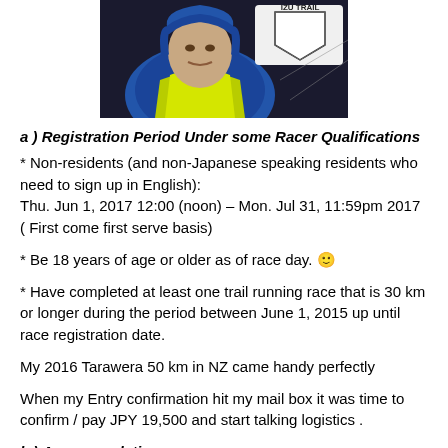[Figure (photo): A man wearing a blue hooded jacket and green/yellow high-visibility top, with an IZU TRAIL banner/shield logo visible in the background. The photo appears to be taken at a race event.]
a ) Registration Period Under some Racer Qualifications
* Non-residents (and non-Japanese speaking residents who need to sign up in English):
Thu. Jun 1, 2017 12:00 (noon) – Mon. Jul 31, 11:59pm 2017 ( First come first serve basis)
* Be 18 years of age or older as of race day. 🙂
* Have completed at least one trail running race that is 30 km or longer during the period between June 1, 2015 up until race registration date.
My 2016 Tarawera 50 km in NZ came handy perfectly
When my Entry confirmation hit my mail box it was time to confirm / pay JPY 19,500 and start talking logistics .
b ) Accommodation
I have truthly no desire going through the couple of flops that